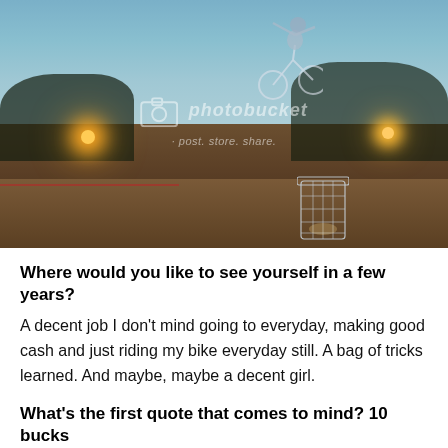[Figure (photo): Night-time outdoor photo showing a BMX rider performing a trick in the air, with street lights and trees in the background and a wire mesh trash basket in the foreground. A Photobucket watermark is visible over the image.]
Where would you like to see yourself in a few years?
A decent job I don't mind going to everyday, making good cash and just riding my bike everyday still. A bag of tricks learned. And maybe, maybe a decent girl.
What's the first quote that comes to mind? 10 bucks